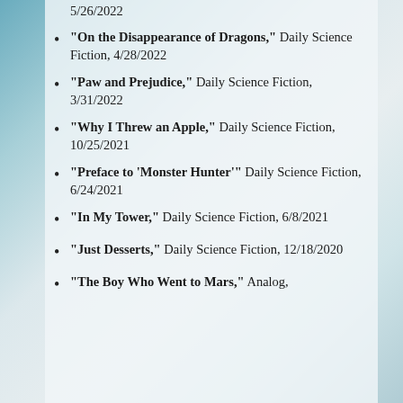5/26/2022
“On the Disappearance of Dragons,” Daily Science Fiction, 4/28/2022
“Paw and Prejudice,” Daily Science Fiction, 3/31/2022
“Why I Threw an Apple,” Daily Science Fiction, 10/25/2021
“Preface to ‘Monster Hunter’” Daily Science Fiction, 6/24/2021
“In My Tower,” Daily Science Fiction, 6/8/2021
“Just Desserts,” Daily Science Fiction, 12/18/2020
“The Boy Who Went to Mars,” Analog,